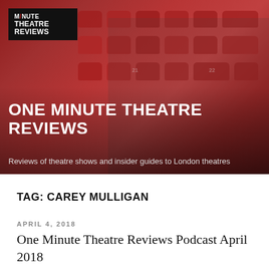[Figure (photo): Hero banner image showing a man seated in red theatre seats, with the One Minute Theatre Reviews logo overlaid in the top-left corner, and title text overlaid at the bottom.]
ONE MINUTE THEATRE REVIEWS
Reviews of theatre shows and insider guides to London theatres
TAG: CAREY MULLIGAN
APRIL 4, 2018
One Minute Theatre Reviews Podcast April 2018
[podcast src="https://html5-